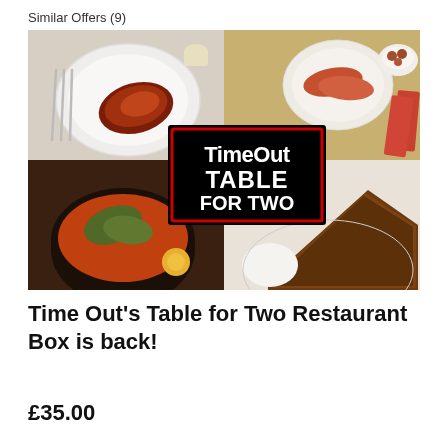Similar Offers (9)
[Figure (photo): Collage of four food photos with a central 'Time Out TABLE FOR TWO' logo on a black background with red border. Top-left: a steak on a white plate with silverware and a small bowl. Top-right: various tapas dishes including charcuterie and meatballs. Bottom-left: a spicy stew/curry in a black pot with an egg. Bottom-right: a slice of chocolate tart with cream on a white plate.]
Time Out's Table for Two Restaurant Box is back!
£35.00